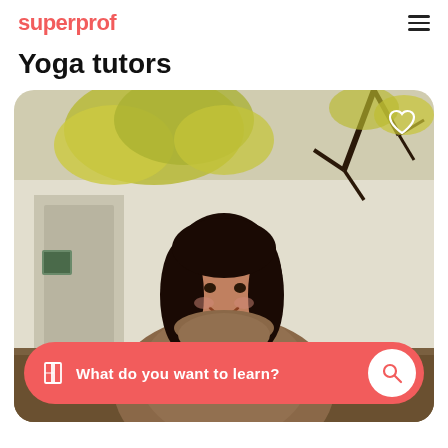superprof
Yoga tutors
[Figure (photo): A smiling young woman with long dark hair wearing a brown turtleneck sweater, standing outdoors in front of a white wall with autumn trees in the background. A heart/favorite icon is visible in the top right corner of the image card.]
What do you want to learn?